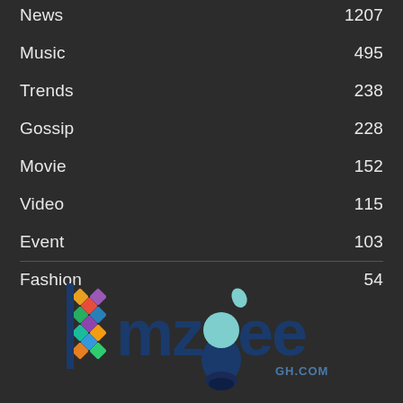News  1207
Music  495
Trends  238
Gossip  228
Movie  152
Video  115
Event  103
Fashion  54
[Figure (logo): mzGee GH.COM logo with colorful diamond pattern on left and bee graphic in center]